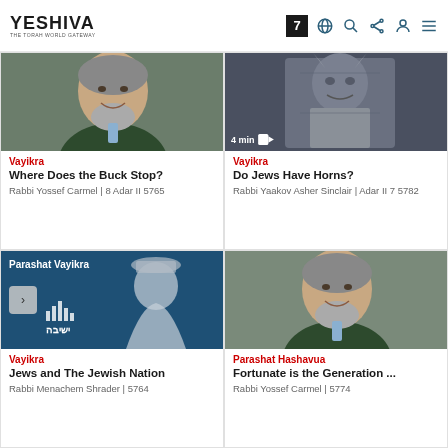YESHIVA
[Figure (photo): Photo of Rabbi Yossef Carmel, bearded man in dark jacket and blue tie, smiling]
Vayikra
Where Does the Buck Stop?
Rabbi Yossef Carmel | 8 Adar II 5765
[Figure (photo): Grayscale photo of a stone statue, appears to be Moses with horns (Michelangelo), with 4 min video badge]
Vayikra
Do Jews Have Horns?
Rabbi Yaakov Asher Sinclair | Adar II 7 5782
[Figure (photo): Audio lesson thumbnail with blue background, Parashat Vayikra label, silhouette of rabbi, Yeshiva logo, play button arrow]
Vayikra
Jews and The Jewish Nation
Rabbi Menachem Shrader | 5764
[Figure (photo): Photo of Rabbi Yossef Carmel, bearded man in dark jacket and blue tie, smiling]
Parashat Hashavua
Fortunate is the Generation ...
Rabbi Yossef Carmel | 5774